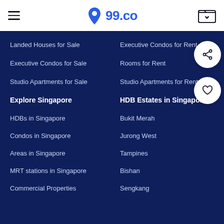99.co navigation header
Landed Houses for Sale
Executive Condos for Rent
Executive Condos for Sale
Rooms for Rent
Studio Apartments for Sale
Studio Apartments for Rent
Explore Singapore
HDB Estates in Singapore
HDBs in Singapore
Bukit Merah
Condos in Singapore
Jurong West
Areas in Singapore
Tampines
MRT stations in Singapore
Bishan
Commercial Properties
Sengkang